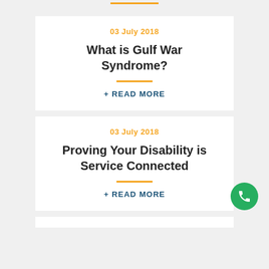03 July 2018
What is Gulf War Syndrome?
+ READ MORE
03 July 2018
Proving Your Disability is Service Connected
+ READ MORE